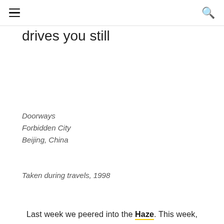≡  🔍
drives you still
Doorways
Forbidden City
Beijing, China
Taken during travels, 1998
Last week we peered into the Haze. This week,